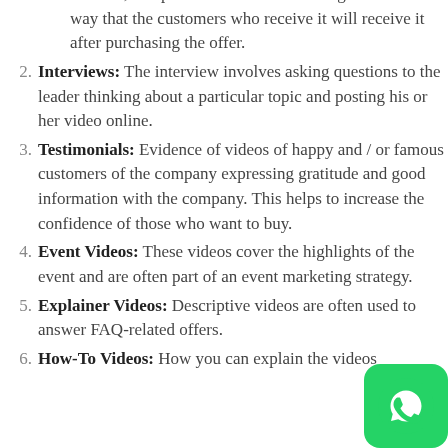features, and product benefits. It is designed in such a way that the customers who receive it will receive it after purchasing the offer.
Interviews: The interview involves asking questions to the leader thinking about a particular topic and posting his or her video online.
Testimonials: Evidence of videos of happy and / or famous customers of the company expressing gratitude and good information with the company. This helps to increase the confidence of those who want to buy.
Event Videos: These videos cover the highlights of the event and are often part of an event marketing strategy.
Explainer Videos: Descriptive videos are often used to answer FAQ-related offers.
How-To Videos: How you can explain the videos